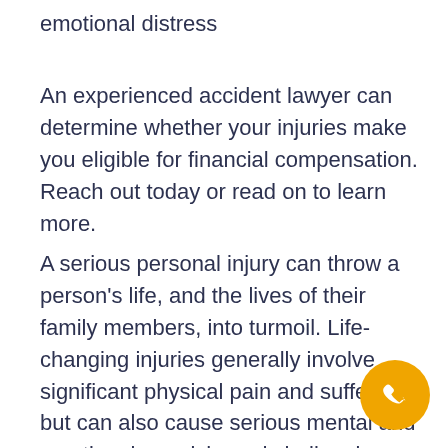emotional distress
An experienced accident lawyer can determine whether your injuries make you eligible for financial compensation. Reach out today or read on to learn more.
A serious personal injury can throw a person's life, and the lives of their family members, into turmoil. Life-changing injuries generally involve significant physical pain and suffering, but can also cause serious mental and emotional anguish, and challenging financial hurdles.
[Figure (illustration): Orange circular phone call button in bottom-right corner]